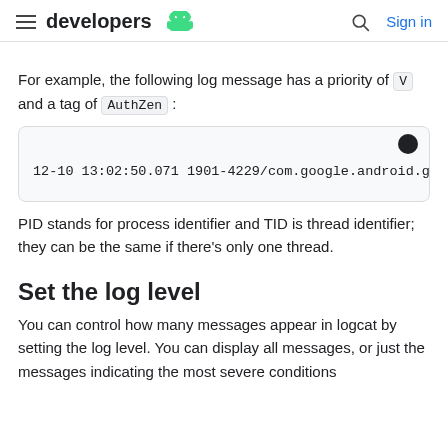developers [android logo] | [search icon] Sign in
For example, the following log message has a priority of V and a tag of AuthZen:
[Figure (screenshot): Code block showing: 12-10 13:02:50.071 1901-4229/com.google.android.g]
PID stands for process identifier and TID is thread identifier; they can be the same if there's only one thread.
Set the log level
You can control how many messages appear in logcat by setting the log level. You can display all messages, or just the messages indicating the most severe conditions